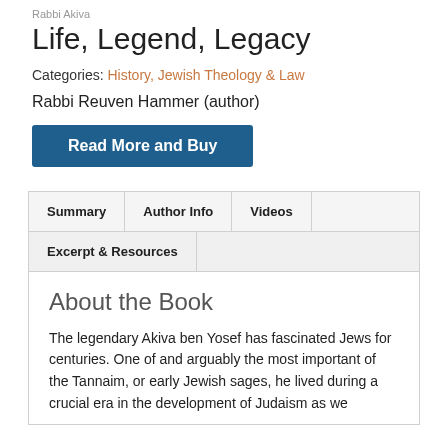Rabbi Akiva
Life, Legend, Legacy
Categories: History, Jewish Theology & Law
Rabbi Reuven Hammer (author)
Read More and Buy
| Summary | Author Info | Videos |  |
| --- | --- | --- | --- |
| Excerpt & Resources |  |  |  |
About the Book
The legendary Akiva ben Yosef has fascinated Jews for centuries. One of and arguably the most important of the Tannaim, or early Jewish sages, he lived during a crucial era in the development of Judaism as we know it today and his story has been inspiring ever since.